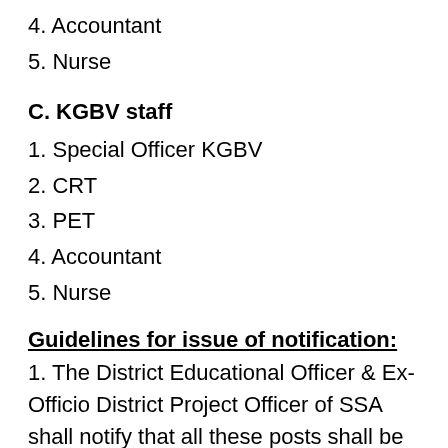4. Accountant
5. Nurse
C. KGBV staff
1. Special Officer KGBV
2. CRT
3. PET
4. Accountant
5. Nurse
Guidelines for issue of notification:
1. The District Educational Officer & Ex-Officio District Project Officer of SSA shall notify that all these posts shall be engaged purely on temporary and contract basis for the period indicated in the letter by the concerned authorities.
2. A press note may be issued in local News Papers in